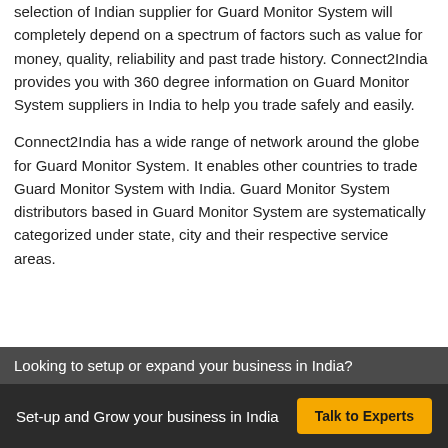selection of Indian supplier for Guard Monitor System will completely depend on a spectrum of factors such as value for money, quality, reliability and past trade history. Connect2India provides you with 360 degree information on Guard Monitor System suppliers in India to help you trade safely and easily.
Connect2India has a wide range of network around the globe for Guard Monitor System. It enables other countries to trade Guard Monitor System with India. Guard Monitor System distributors based in Guard Monitor System are systematically categorized under state, city and their respective service areas.
Looking to setup or expand your business in India?
Set-up and Grow your business in India  Talk to Experts